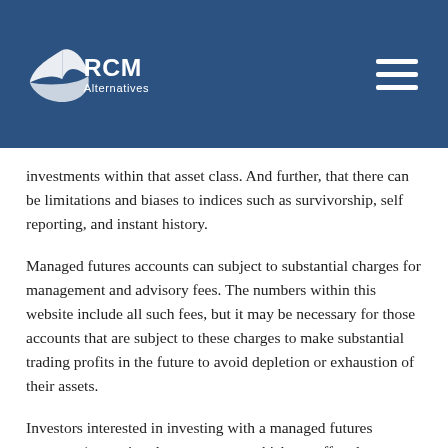RCM Alternatives
investments within that asset class. And further, that there can be limitations and biases to indices such as survivorship, self reporting, and instant history.
Managed futures accounts can subject to substantial charges for management and advisory fees. The numbers within this website include all such fees, but it may be necessary for those accounts that are subject to these charges to make substantial trading profits in the future to avoid depletion or exhaustion of their assets.
Investors interested in investing with a managed futures program (excepting those programs which are offered exclusively to